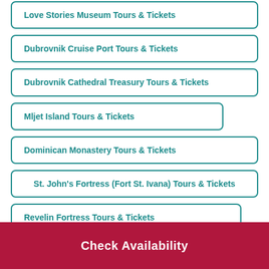Love Stories Museum Tours & Tickets
Dubrovnik Cruise Port Tours & Tickets
Dubrovnik Cathedral Treasury Tours & Tickets
Mljet Island Tours & Tickets
Dominican Monastery Tours & Tickets
St. John's Fortress (Fort St. Ivana) Tours & Tickets
Revelin Fortress Tours & Tickets
(partial, cut off)
Check Availability